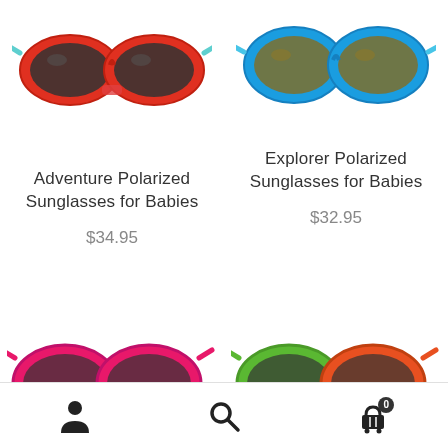[Figure (photo): Red/teal children's polarized sunglasses with dark lenses, partially cropped at top, left product column]
[Figure (photo): Blue children's polarized sunglasses with brown lenses, partially cropped at top, right product column]
Adventure Polarized Sunglasses for Babies
$34.95
Explorer Polarized Sunglasses for Babies
$32.95
[Figure (photo): Pink children's sunglasses partially visible at bottom left]
[Figure (photo): Green/colorful children's sunglasses partially visible at bottom right]
[Figure (other): Mobile app bottom navigation bar with user account icon, search icon, and shopping cart icon with badge showing 0]